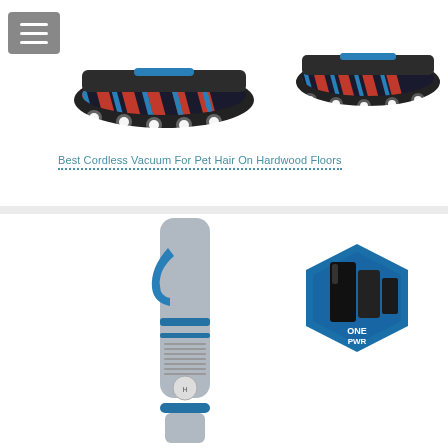[Figure (photo): Vacuum cleaner brush head with LED lights and red/blue patterned roller, viewed from front-left angle]
[Figure (photo): Vacuum cleaner brush head with LED lights and red/blue patterned roller, viewed from front-right angle]
Best Cordless Vacuum For Pet Hair On Hardwood Floors
[Figure (photo): Blue and silver cordless stick vacuum cleaner handle and body, viewed at an angle]
[Figure (logo): ONEPWR battery system badge logo on blue hexagon background with black battery pack graphic]